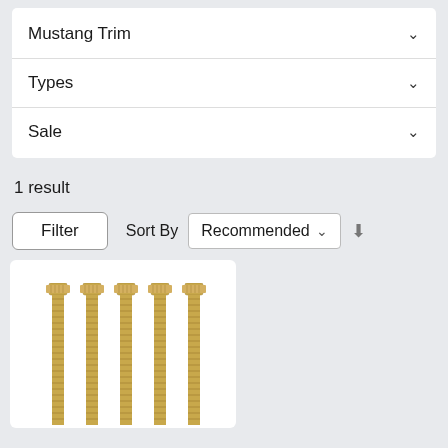Mustang Trim
Types
Sale
1 result
Filter
Sort By
Recommended
[Figure (photo): Five gold/brass threaded bolts with knurled heads arranged in a row on a white background]